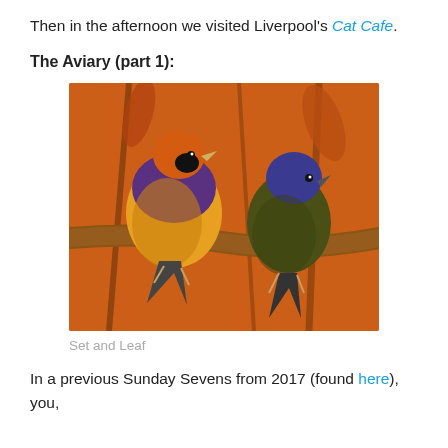Then in the afternoon we visited Liverpool's Cat Cafe.
The Aviary (part 1):
[Figure (photo): Two colorful finch birds (Gouldian finches) perched on a branch against an orange background. The left bird has an orange head, purple breast, and yellow belly. The right bird has a blue-purple head and dark olive-brown body.]
Set and Leaf
In a previous Sunday Sevens from 2017 (found here), you,